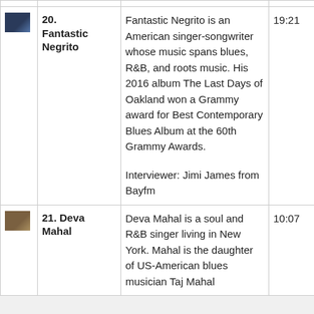| Image | Name | Description | Duration |
| --- | --- | --- | --- |
| [thumb] | 20. Fantastic Negrito | Fantastic Negrito is an American singer-songwriter whose music spans blues, R&B, and roots music. His 2016 album The Last Days of Oakland won a Grammy award for Best Contemporary Blues Album at the 60th Grammy Awards.

Interviewer: Jimi James from Bayfm | 19:21 |
| [thumb] | 21. Deva Mahal | Deva Mahal is a soul and R&B singer living in New York. Mahal is the daughter of US-American blues musician Taj Mahal | 10:07 |